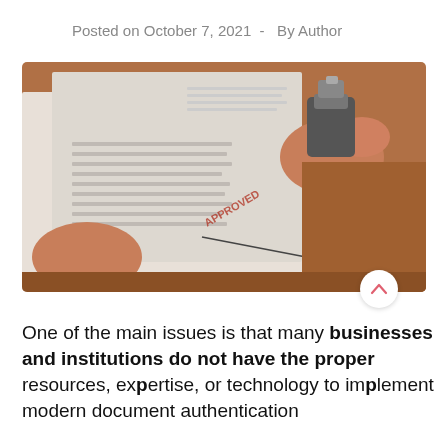Posted on October 7, 2021  -  By Author
[Figure (photo): Close-up photograph of a hand pressing an ink stamp onto a document on a wooden desk, with paper documents visible in the background.]
One of the main issues is that many businesses and institutions do not have the proper resources, expertise, or technology to implement modern document authentication